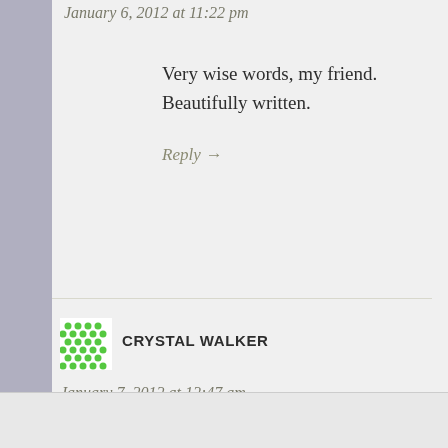January 6, 2012 at 11:22 pm
Very wise words, my friend. Beautifully written.
Reply →
CRYSTAL WALKER
January 7, 2012 at 12:47 am
I too have had my share of K...
Advertisements